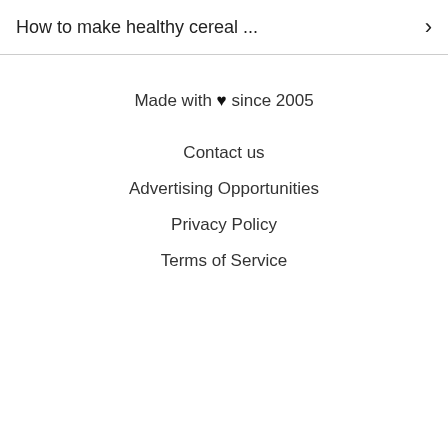How to make healthy cereal ... ›
Made with ♥ since 2005
Contact us
Advertising Opportunities
Privacy Policy
Terms of Service